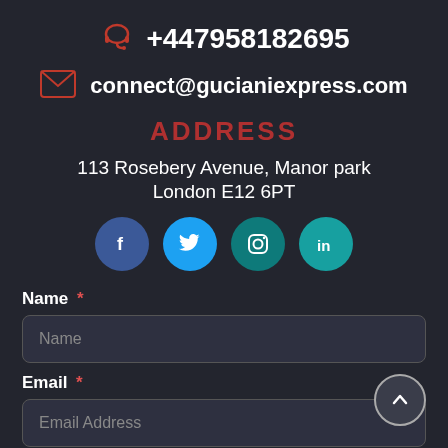+447958182695
connect@gucianiexpress.com
ADDRESS
113 Rosebery Avenue, Manor park
London E12 6PT
[Figure (infographic): Four social media icon circles: Facebook (dark blue), Twitter (light blue), Instagram (dark teal), LinkedIn (teal)]
Name *
Name
Email *
Email Address